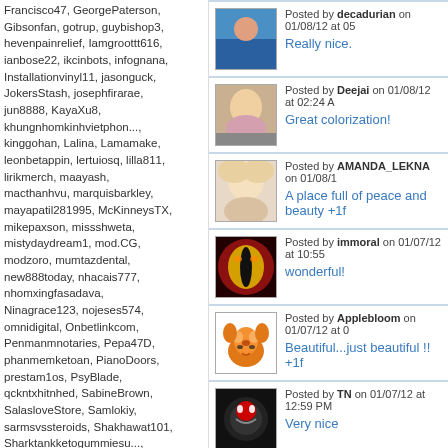Francisco47, GeorgePaterson, Gibsonfan, gotrup, guybishop3, hevenpainrelief, Iamgroottt616, ianbose22, ikcinbots, infognana, Installationvinyl11, jasonguck, JokersStash, josephfirarae, jun8888, KayaXu8, khungnhomkinhvietphon..., kinggohan, Lalina, Lamamake, leonbetappin, lertuiosq, lilla811, lirikmerch, maayash, macthanhvu, marquisbarkley, mayapatil281995, McKinneysTX, mikepaxson, missshweta, mistydaydream1, mod.CG, modzoro, mumtazdental, new888today, nhacais777, nhomxingfasadava, Ninagrace123, nojeses574, omnidigital, Onbetlinkcom, Penmanmnotaries, Pepa47D, phanmemketoan, PianoDoors, prestam1os, PsyBlade, qckntxhitnhed, SabineBrown, SalasloveStore, Samlokiy, sarmsvssteroids, Shakhawat101, Sharktankketogummiesu..., Shonu12aug, socialbacklink1, sonygatla, steverogers9005, susiestravelweb, SwastikPackersinMumba..., taigamekingfunus, texasnurselawyers, theglobalcitysvn24, theparkavenuecity, ThorsenBryan99, tiptopumzug, top10vietnamta, topd026, trainwellnessbike, Tropics777
Posted by decadurian on 01/08/12 at 05
Really nice.
Posted by Deejai on 01/08/12 at 02:24 A
Great colorization!
Posted by AMANDA_LEKNA on 01/08/1
A place full of peace and beauty +1f
Posted by immoral on 01/07/12 at 10:55
wonderful!
Posted by Applebloom on 01/07/12 at 0
Beautiful...just beautiful !! +1f
Posted by TN on 01/07/12 at 12:59 PM
Very nice